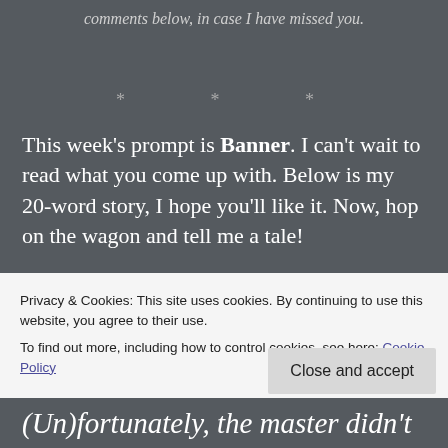comments below, in case I have missed you.
* * *
This week's prompt is Banner. I can't wait to read what you come up with. Below is my 20-word story, I hope you'll like it. Now, hop on the wagon and tell me a tale!
BANNER
Privacy & Cookies: This site uses cookies. By continuing to use this website, you agree to their use.
To find out more, including how to control cookies, see here: Cookie Policy
(Un)fortunately, the master didn't